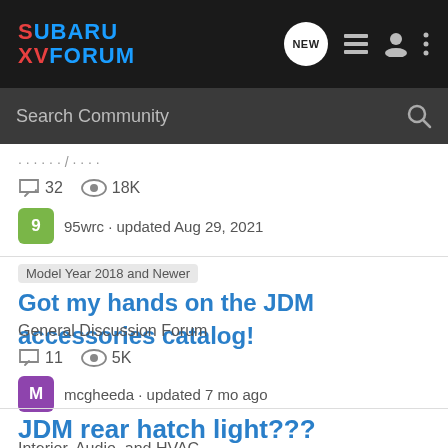SUBARU XV FORUM
Search Community
32 comments  18K views  9  95wrc · updated Aug 29, 2021
Model Year 2018 and Newer  Got my hands on the JDM accessories catalog!
General Discussion Forum
11 comments  5K views  M  mcgheeda · updated 7 mo ago
JDM rear hatch light???
Interior, Audio, and HVAC